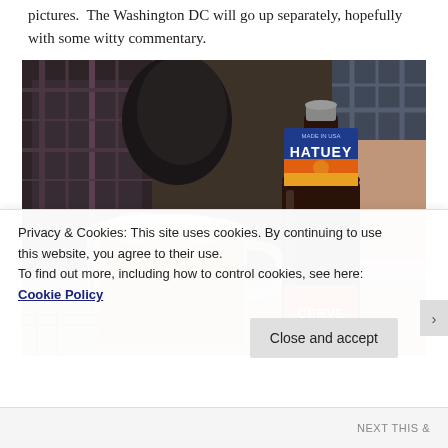pictures.  The Washington DC will go up separately, hopefully with some witty commentary.
[Figure (photo): Photo of a Hatuey beer bottle (dark brown glass with blue/gold/red label reading 'HATUEY' and 'MADE IN USA') next to a glass beer mug with amber beer and foam head, on a table with people in the background.]
Privacy & Cookies: This site uses cookies. By continuing to use this website, you agree to their use.
To find out more, including how to control cookies, see here: Cookie Policy
Close and accept
NEXT THIS &